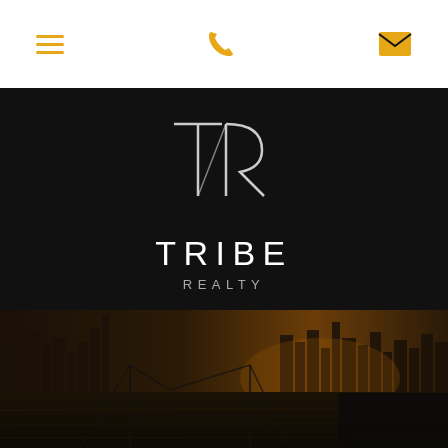Navigation bar with menu, phone, and email icons
[Figure (logo): Tribe Realty logo: stylized TR monogram in white/silver on black background with 'TRIBE' in large spaced white letters and 'REALTY' in smaller spaced grey letters below]
[Figure (photo): Aerial/wide-angle dusk/sunset photo of a major city skyline (New York City) with a bridge and river in the foreground, dark warm tones]